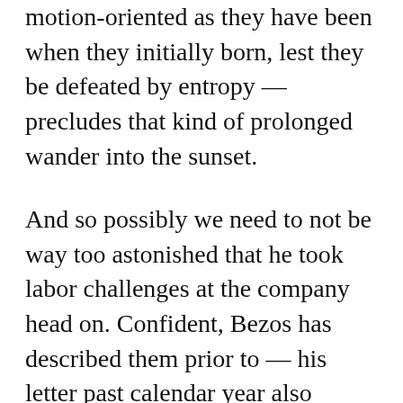motion-oriented as they have been when they initially born, lest they be defeated by entropy — precludes that kind of prolonged wander into the sunset.
And so possibly we need to not be way too astonished that he took labor challenges at the company head on. Confident, Bezos has described them prior to — his letter past calendar year also devoted many paragraphs to Amazon's assist for the $15 minimum wage, re-instruction personnel, and so on — but I'm not confident he has ever confronted critics rather so immediately. Bezos writes: